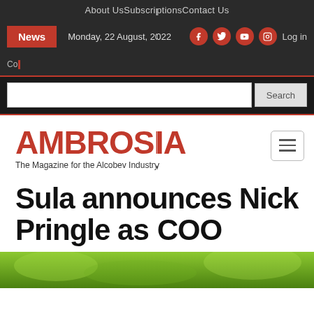About Us   Subscriptions   Contact Us
News  Monday, 22 August, 2022  Log in
Co
Search
[Figure (logo): AMBROSIA - The Magazine for the Alcobev Industry logo in red with hamburger menu button]
Sula announces Nick Pringle as COO
[Figure (photo): Green outdoor/vineyard background image strip at bottom of page]